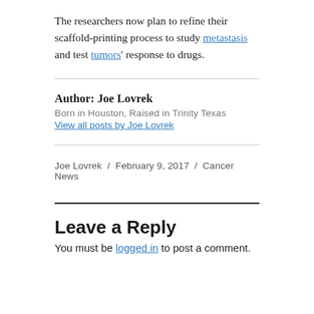The researchers now plan to refine their scaffold-printing process to study metastasis and test tumors' response to drugs.
Author: Joe Lovrek
Born in Houston, Raised in Trinity Texas
View all posts by Joe Lovrek
Joe Lovrek / February 9, 2017 / Cancer News
Leave a Reply
You must be logged in to post a comment.